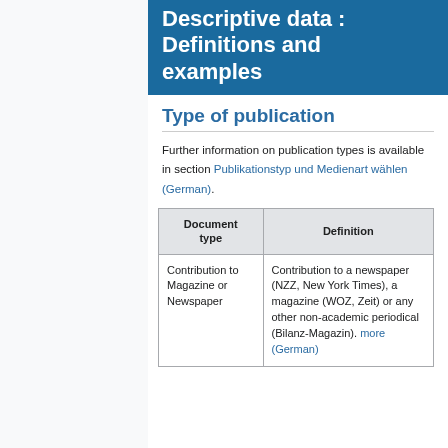Descriptive data: Definitions and examples
Type of publication
Further information on publication types is available in section Publikationstyp und Medienart wählen (German).
| Document type | Definition |
| --- | --- |
| Contribution to Magazine or Newspaper | Contribution to a newspaper (NZZ, New York Times), a magazine (WOZ, Zeit) or any other non-academic periodical (Bilanz-Magazin). more (German) |